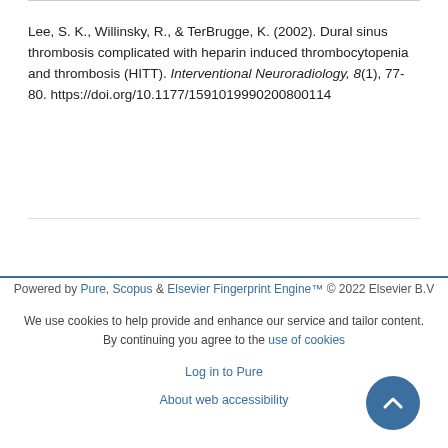Lee, S. K., Willinsky, R., & TerBrugge, K. (2002). Dural sinus thrombosis complicated with heparin induced thrombocytopenia and thrombosis (HITT). Interventional Neuroradiology, 8(1), 77-80. https://doi.org/10.1177/159101999020080​0114
Powered by Pure, Scopus & Elsevier Fingerprint Engine™ © 2022 Elsevier B.V
We use cookies to help provide and enhance our service and tailor content. By continuing you agree to the use of cookies
Log in to Pure
About web accessibility